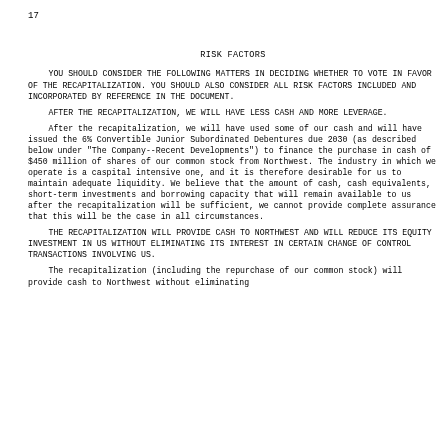17
RISK FACTORS
YOU SHOULD CONSIDER THE FOLLOWING MATTERS IN DECIDING WHETHER TO VOTE IN FAVOR OF THE RECAPITALIZATION. YOU SHOULD ALSO CONSIDER THE RISK FACTORS INCLUDED AND INCORPORATED BY REFERENCE IN THE DOCUMENT.
AFTER THE RECAPITALIZATION, WE WILL HAVE LESS CASH AND MORE LEVERAGE.
After the recapitalization, we will have used some of our cash and will have issued the 6% Convertible Junior Subordinated Debentures due 2030 (as described below under "The Company--Recent Developments") to finance the purchase in cash of $450 million of shares of our common stock from Northwest. The industry in which we operate is a capital intensive one and it is therefore desirable for us to maintain adequate liquidity. We believe that the amount of cash, cash equivalents, short-term investments and borrowing capacity that will remain available to us after the recapitalization will be sufficient, we cannot provide complete assurance that this will be the case in all circumstances.
THE RECAPITALIZATION WILL PROVIDE CASH TO NORTHWEST AND WILL REDUCE ITS EQUITY INVESTMENT IN US WITHOUT ELIMINATING ITS INTEREST IN CERTAIN CHANGE OF CONTROL TRANSACTIONS INVOLVING US.
The recapitalization (including the repurchase of our common stock) will provide cash to Northwest without eliminating